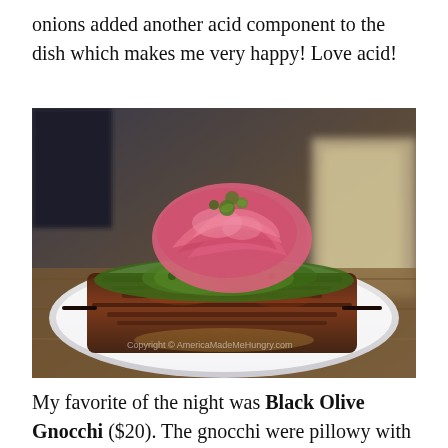onions added another acid component to the dish which makes me very happy! Love acid!
[Figure (photo): Food photography of grilled meat on a white rectangular plate, topped with green herb sauce (chimichurri) and pink pickled red onions, served on a wooden table in a restaurant setting.]
My favorite of the night was Black Olive Gnocchi ($20). The gnocchi were pillowy with a nice